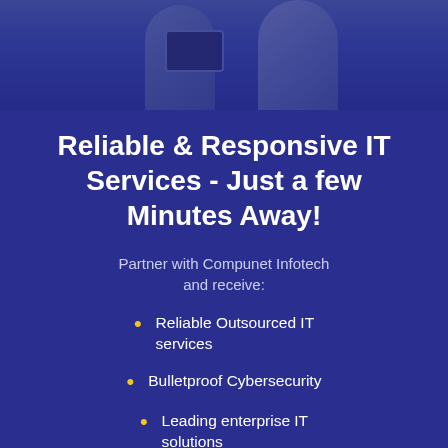[Figure (photo): Two business professionals looking at a tablet device, photo appears in the upper portion of the page with a blue overlay]
Reliable & Responsive IT Services - Just a few Minutes Away!
Partner with Compunet Infotech and receive:
Reliable Outsourced IT services
Bulletproof Cybersecurity
Leading enterprise IT solutions